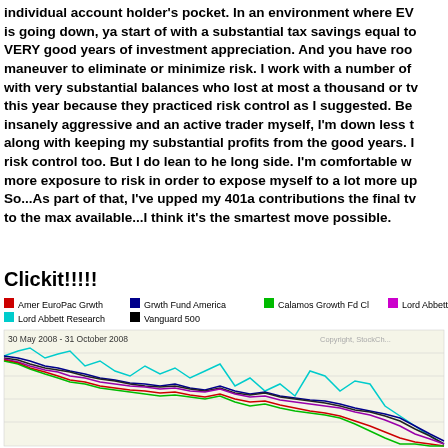individual account holder's pocket. In an environment where EV is going down, ya start of with a substantial tax savings equal to VERY good years of investment appreciation. And you have room to maneuver to eliminate or minimize risk. I work with a number of with very substantial balances who lost at most a thousand or two this year because they practiced risk control as I suggested. Being insanely aggressive and an active trader myself, I'm down less t along with keeping my substantial profits from the good years. I risk control too. But I do lean to he long side. I'm comfortable w more exposure to risk in order to expose myself to a lot more up So...As part of that, I've upped my 401a contributions the final tw to the max available...I think it's the smartest move possible.
Clickit!!!!!
[Figure (line-chart): Multi-line chart showing performance of 6 funds from 30 May 2008 to 31 October 2008: Amer EuroPac Grwth (red), Grwth Fund America (dark blue), Calamos Growth Fd Cl (green), Lord Abbett Mid-Cap (pink/purple), Lord Abbett Research (cyan/light blue), Vanguard 500 (black). Most lines trend downward over the period, with the cyan line showing high volatility and staying relatively higher before declining sharply at the end.]